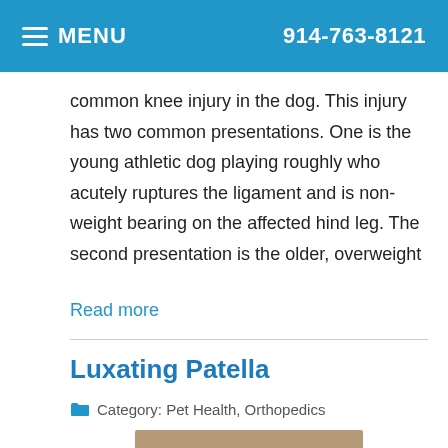MENU  914-763-8121
common knee injury in the dog. This injury has two common presentations. One is the young athletic dog playing roughly who acutely ruptures the ligament and is non-weight bearing on the affected hind leg. The second presentation is the older, overweight
Read more
Luxating Patella
Category: Pet Health, Orthopedics
[Figure (photo): A small white fluffy dog lying down, viewed from above.]